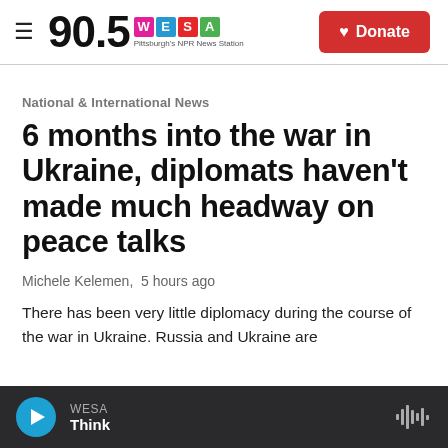90.5 WESA — Pittsburgh's NPR News Station | Donate
National & International News
6 months into the war in Ukraine, diplomats haven't made much headway on peace talks
Michele Kelemen,  5 hours ago
There has been very little diplomacy during the course of the war in Ukraine. Russia and Ukraine are
WESA Think